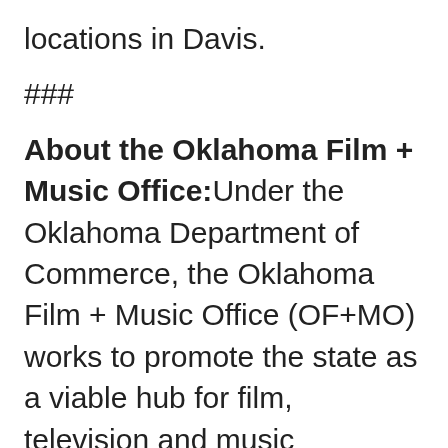locations in Davis.
###
About the Oklahoma Film + Music Office: Under the Oklahoma Department of Commerce, the Oklahoma Film + Music Office (OF+MO) works to promote the state as a viable hub for film, television and music production as well as further develop opportunities for workforce, business and community growth within these sectors. For more information on the Oklahoma Film + Music Office